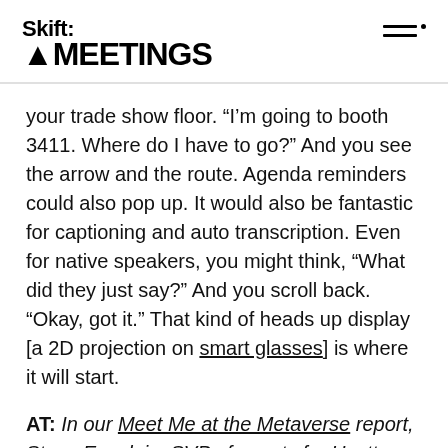Skift MEETINGS
your trade show floor. “I’m going to booth 3411. Where do I have to go?” And you see the arrow and the route. Agenda reminders could also pop up. It would also be fantastic for captioning and auto transcription. Even for native speakers, you might think, “What did they just say?” And you scroll back. “Okay, got it.” That kind of heads up display [a 2D projection on smart glasses] is where it will start.
AT: In our Meet Me at the Metaverse report, Steve Enselein, SVP of events for Hyatt, mentioned that virtual site tours are becoming more popular. Do